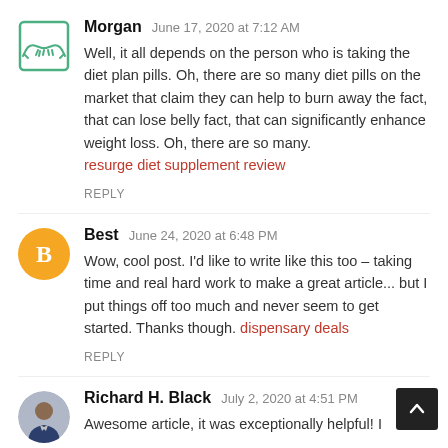Morgan  June 17, 2020 at 7:12 AM
Well, it all depends on the person who is taking the diet plan pills. Oh, there are so many diet pills on the market that claim they can help to burn away the fact, that can lose belly fact, that can significantly enhance weight loss. Oh, there are so many.
resurge diet supplement review
REPLY
Best  June 24, 2020 at 6:48 PM
Wow, cool post. I'd like to write like this too – taking time and real hard work to make a great article... but I put things off too much and never seem to get started. Thanks though. dispensary deals
REPLY
Richard H. Black  July 2, 2020 at 4:51 PM
Awesome article, it was exceptionally helpful! I